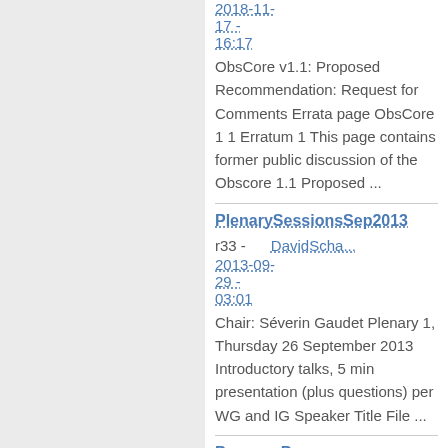2018-11-17 - 16:17
ObsCore v1.1: Proposed Recommendation: Request for Comments Errata page ObsCore 1 1 Erratum 1 This page contains former public discussion of the Obscore 1.1 Proposed ...
PlenarySessionsSep2013
r33 - DavidScha... 2013-09-29 - 03:01
Chair: Séverin Gaudet Plenary 1, Thursday 26 September 2013 Introductory talks, 5 min presentation (plus questions) per WG and IG Speaker Title File ...
ProgramPrep
r36 - JanetEvan... 2018-11-